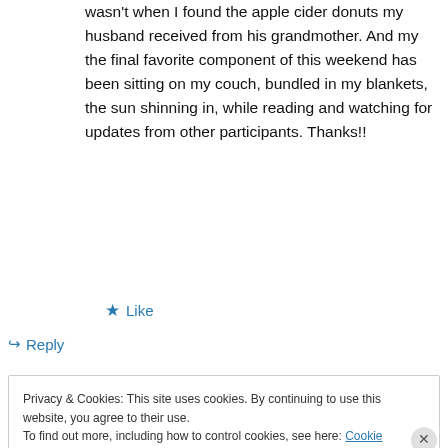wasn't when I found the apple cider donuts my husband received from his grandmother. And my the final favorite component of this weekend has been sitting on my couch, bundled in my blankets, the sun shinning in, while reading and watching for updates from other participants. Thanks!!
★ Like
↪ Reply
Privacy & Cookies: This site uses cookies. By continuing to use this website, you agree to their use.
To find out more, including how to control cookies, see here: Cookie Policy
Close and accept